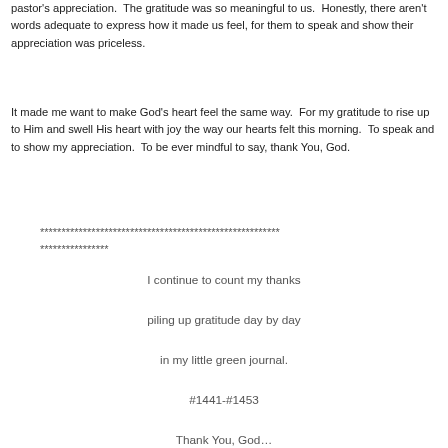pastor's appreciation.  The gratitude was so meaningful to us.  Honestly, there aren't words adequate to express how it made us feel, for them to speak and show their appreciation was priceless.
It made me want to make God's heart feel the same way.  For my gratitude to rise up to Him and swell His heart with joy the way our hearts felt this morning.  To speak and to show my appreciation.  To be ever mindful to say, thank You, God.
********************************************************
****************
I continue to count my thanks

piling up gratitude day by day

in my little green journal.

#1441-#1453

Thank You, God…